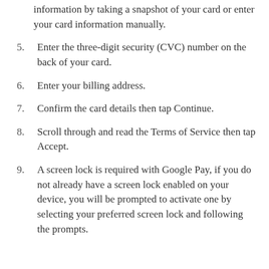information by taking a snapshot of your card or enter your card information manually.
5. Enter the three-digit security (CVC) number on the back of your card.
6. Enter your billing address.
7. Confirm the card details then tap Continue.
8. Scroll through and read the Terms of Service then tap Accept.
9. A screen lock is required with Google Pay, if you do not already have a screen lock enabled on your device, you will be prompted to activate one by selecting your preferred screen lock and following the prompts.